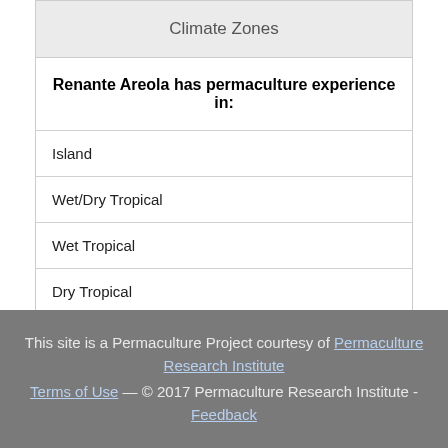| Climate Zones |
| --- |
| Renante Areola has permaculture experience in: |
| Island |
| Wet/Dry Tropical |
| Wet Tropical |
| Dry Tropical |
This site is a Permaculture Project courtesy of Permaculture Research Institute — Terms of Use — © 2017 Permaculture Research Institute - Feedback